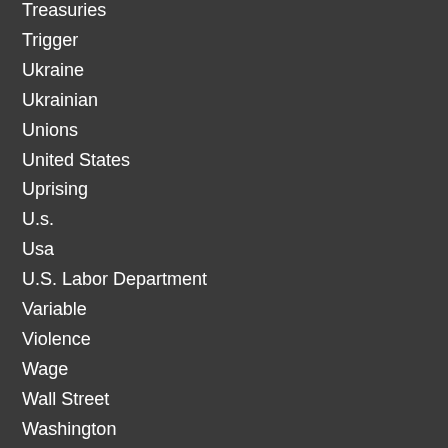Treasuries
Trigger
Ukraine
Ukrainian
Unions
United States
Uprising
U.s.
Usa
U.S. Labor Department
Variable
Violence
Wage
Wall Street
Washington
Wealth
Work
Workers
Yield
Yields